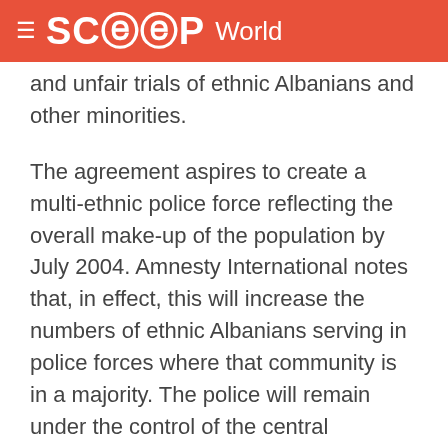SCOOP World
and unfair trials of ethnic Albanians and other minorities.
The agreement aspires to create a multi-ethnic police force reflecting the overall make-up of the population by July 2004. Amnesty International notes that, in effect, this will increase the numbers of ethnic Albanians serving in police forces where that community is in a majority. The police will remain under the control of the central government.
Provisions of the Framework Agreement, which require amendment of the Constitution are due to be